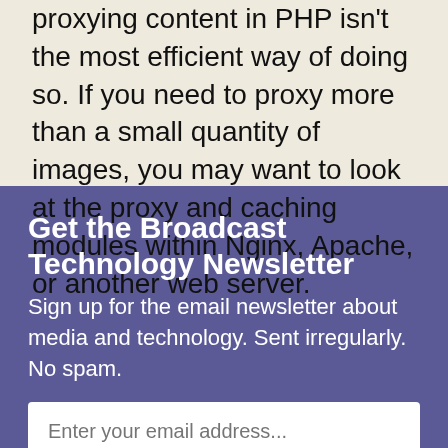proxying content in PHP isn't the most efficient way of doing so. If you need to proxy more than a small quantity of images, you may want to look at the proxy and caching modules within Nginx, Apache, or another web server.
Get the Broadcast Technology Newsletter
Sign up for the email newsletter about media and technology. Sent irregularly. No spam.